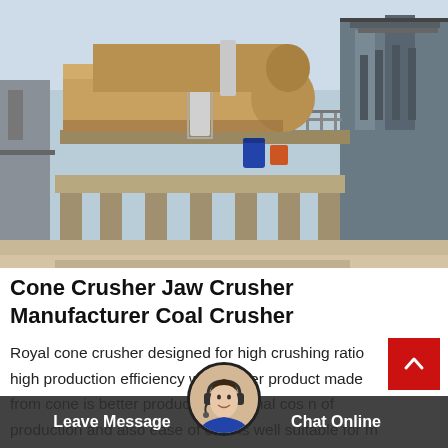[Figure (photo): Industrial facility with large horizontal cylindrical rotary kilns or mills elevated on concrete pillars, with metal walkways, railings, and industrial structures in the background under a light blue sky.]
Cone Crusher Jaw Crusher Manufacturer Coal Crusher
Royal cone crusher designed for high crushing ratio high production efficiency with higher product made from cone is better product operational cos of production and also ease of cone is well suitable for m well static machine for...
Leave Message   Chat Online